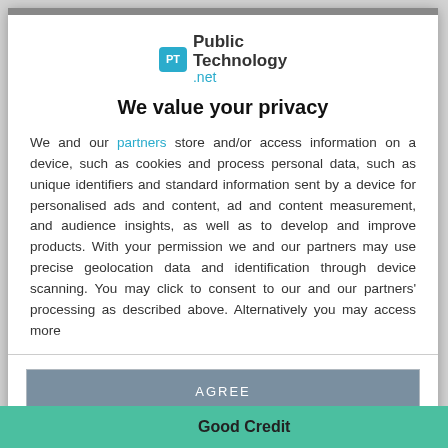[Figure (logo): PublicTechnology.net logo with teal PT icon and text]
We value your privacy
We and our partners store and/or access information on a device, such as cookies and process personal data, such as unique identifiers and standard information sent by a device for personalised ads and content, ad and content measurement, and audience insights, as well as to develop and improve products. With your permission we and our partners may use precise geolocation data and identification through device scanning. You may click to consent to our and our partners' processing as described above. Alternatively you may access more
AGREE
MORE OPTIONS
Good Credit